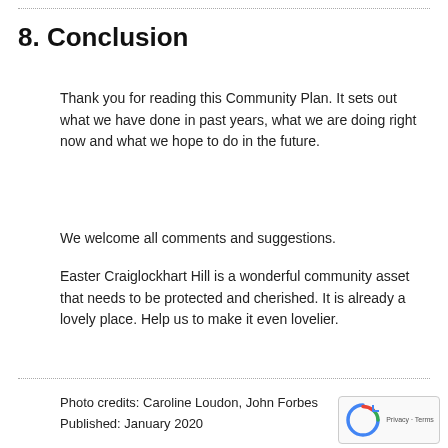8. Conclusion
Thank you for reading this Community Plan. It sets out what we have done in past years, what we are doing right now and what we hope to do in the future.
We welcome all comments and suggestions.
Easter Craiglockhart Hill is a wonderful community asset that needs to be protected and cherished. It is already a lovely place. Help us to make it even lovelier.
Photo credits: Caroline Loudon, John Forbes
Published: January 2020